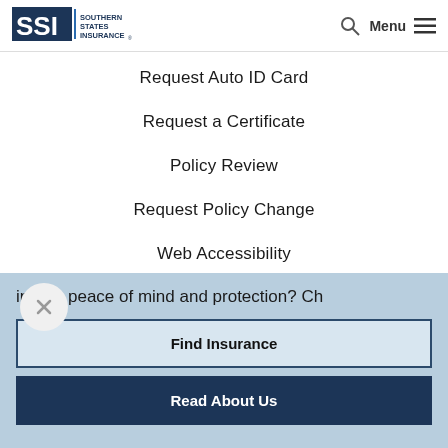[Figure (logo): Southern States Insurance logo with SSI initials and text]
Request Auto ID Card
Request a Certificate
Policy Review
Request Policy Change
Web Accessibility
[Figure (other): Close (X) button circle]
ing for peace of mind and protection? Ch
Find Insurance
Read About Us